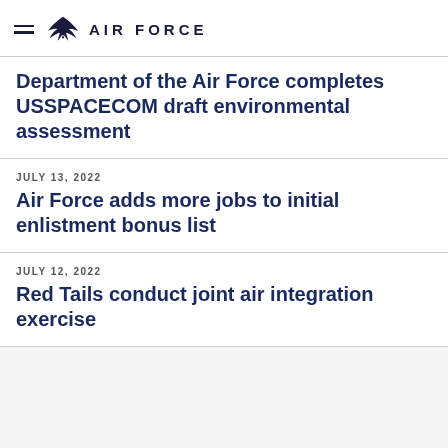AIR FORCE
Department of the Air Force completes USSPACECOM draft environmental assessment
JULY 13, 2022
Air Force adds more jobs to initial enlistment bonus list
JULY 12, 2022
Red Tails conduct joint air integration exercise